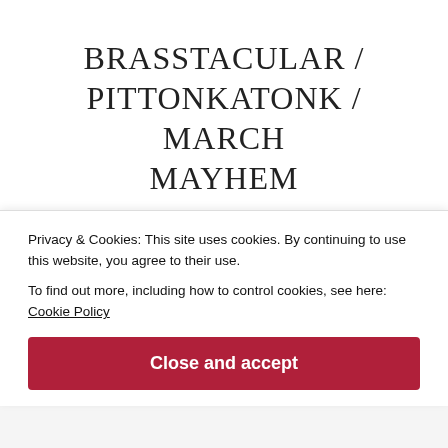BRASSTACULAR / PITTONKATONK / MARCH MAYHEM
3 bands and 1 Dj that all use Brass PANDEMIC PRESENTS A Brass Bonanza featuring Beauty Slap C Street Brass project w/ Jake is Rain Brass meets a DJ and the rest you'll dance your ass off to. The Pressure
Privacy & Cookies: This site uses cookies. By continuing to use this website, you agree to their use.
To find out more, including how to control cookies, see here: Cookie Policy
Close and accept